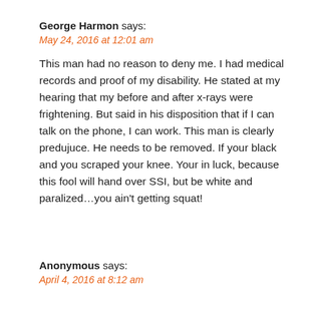George Harmon says:
May 24, 2016 at 12:01 am
This man had no reason to deny me. I had medical records and proof of my disability. He stated at my hearing that my before and after x-rays were frightening. But said in his disposition that if I can talk on the phone, I can work. This man is clearly predujuce. He needs to be removed. If your black and you scraped your knee. Your in luck, because this fool will hand over SSI, but be white and paralized…you ain't getting squat!
Anonymous says:
April 4, 2016 at 8:12 am